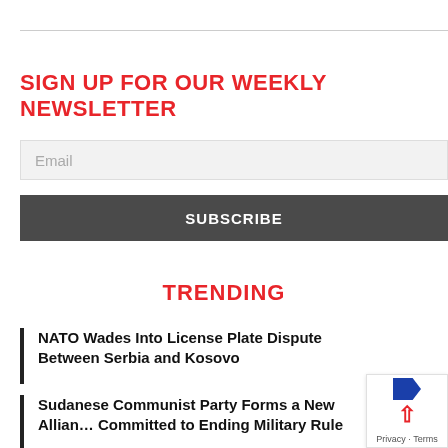SIGN UP FOR OUR WEEKLY NEWSLETTER
Email
SUBSCRIBE
TRENDING
NATO Wades Into License Plate Dispute Between Serbia and Kosovo
Sudanese Communist Party Forms a New Alliance Committed to Ending Military Rule